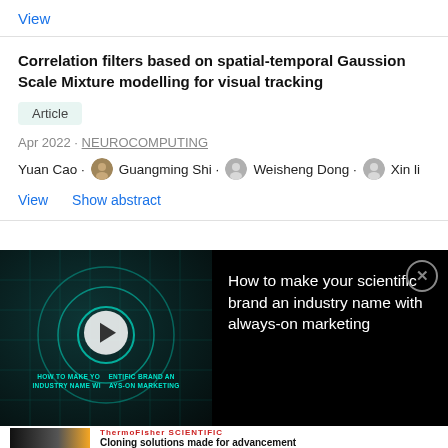View
Correlation filters based on spatial-temporal Gaussion Scale Mixture modelling for visual tracking
Article
Apr 2022 · NEUROCOMPUTING
Yuan Cao · Guangming Shi · Weisheng Dong · Xin li
View   Show abstract
[Figure (screenshot): Video advertisement thumbnail showing 'How to make your scientific brand an industry name with always-on marketing' with teal/cyan futuristic graphics and a play button overlay]
How to make your scientific brand an industry name with always-on marketing
[Figure (photo): Thermo Fisher Scientific Cloning advertisement with dark image of person and cloning product imagery]
Cloning solutions made for advancement